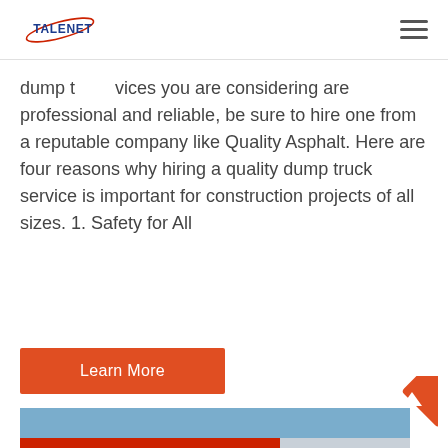TALENET
dump t... ...vices you are considering are professional and reliable, be sure to hire one from a reputable company like Quality Asphalt. Here are four reasons why hiring a quality dump truck service is important for construction projects of all sizes. 1. Safety for All
Learn More
[Figure (photo): A white heavy-duty truck (HOWO brand) parked in front of a building with red and green signage containing Chinese characters, with clear blue sky visible.]